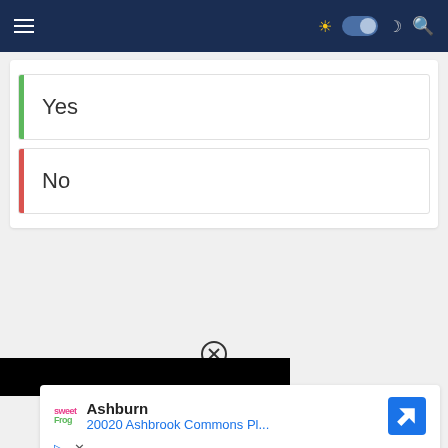Navigation bar with hamburger menu, sun icon, dark mode toggle, moon icon, and search icon
Yes
No
[Figure (screenshot): Close button (circled X) over a black advertisement bar]
[Figure (screenshot): Advertisement card showing SweetFrog logo, Ashburn location, 20020 Ashbrook Commons Pl..., with a blue diamond direction arrow icon, and play/close icons at bottom]